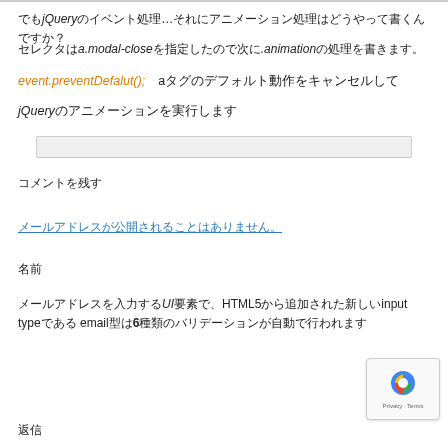でもjQueryのイベント処理…それにアニメーション処理はどうやって書くんですか？
セレクタはa.modal-closeを指定したので次に.animationの処理を書きます。
event.preventDefalut(); aタグのデフォルト動作をキャンセルして
jQueryのアニメーションを実行します
[Figure (screenshot): Search input bar (grey background)]
コメントを残す
メールアドレスが公開されることはありません。
名前
メールアドレスを入力するUI要素で、HTML5から追加された新しいinput typeである email型は6種類のバリデーションが自動で行われます
返信